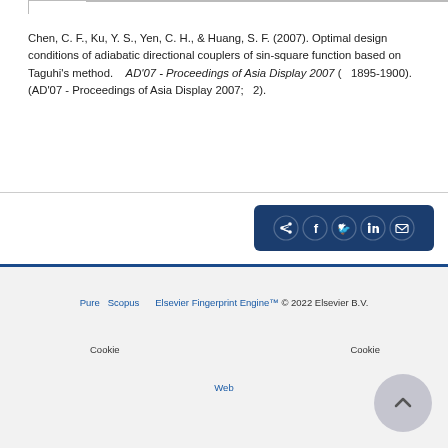Chen, C. F., Ku, Y. S., Yen, C. H., & Huang, S. F. (2007). Optimal design conditions of adiabatic directional couplers of sin-square function based on Taguhi's method. AD'07 - Proceedings of Asia Display 2007 ( 1895-1900). (AD'07 - Proceedings of Asia Display 2007; 2).
[Figure (other): Social share bar with icons for share, Facebook, Twitter, LinkedIn, and email on dark blue background]
Pure  Scopus     Elsevier Fingerprint Engine™ © 2022 Elsevier B.V.
Cookie                                                    Cookie
Web